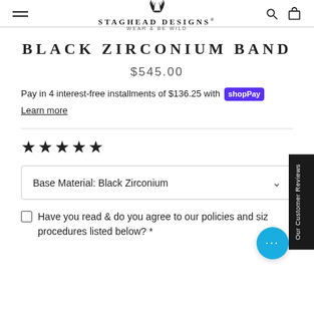STAGHEAD DESIGNS® WEAR & BE WILD
BLACK ZIRCONIUM BAND
$545.00
Pay in 4 interest-free installments of $136.25 with Shop Pay
Learn more
[Figure (other): Five black filled star rating icons]
Base Material: Black Zirconium
Have you read & do you agree to our policies and sizing procedures listed below? *